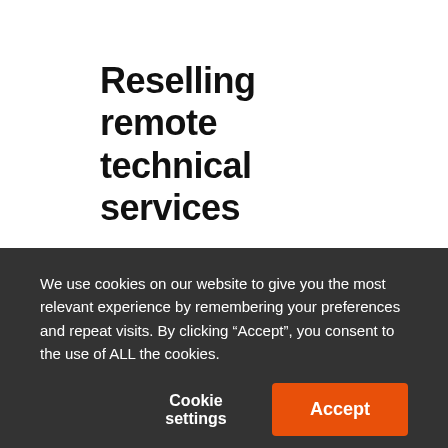Reselling remote technical services
Reselling a wireless concrete sensor solution like
We use cookies on our website to give you the most relevant experience by remembering your preferences and repeat visits. By clicking “Accept”, you consent to the use of ALL the cookies.
Cookie settings
Accept